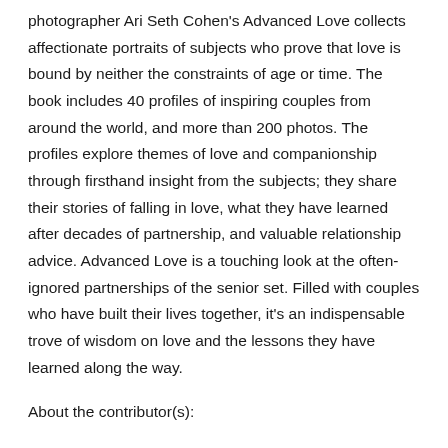photographer Ari Seth Cohen's Advanced Love collects affectionate portraits of subjects who prove that love is bound by neither the constraints of age or time. The book includes 40 profiles of inspiring couples from around the world, and more than 200 photos. The profiles explore themes of love and companionship through firsthand insight from the subjects; they share their stories of falling in love, what they have learned after decades of partnership, and valuable relationship advice. Advanced Love is a touching look at the often-ignored partnerships of the senior set. Filled with couples who have built their lives together, it's an indispensable trove of wisdom on love and the lessons they have learned along the way.
About the contributor(s):